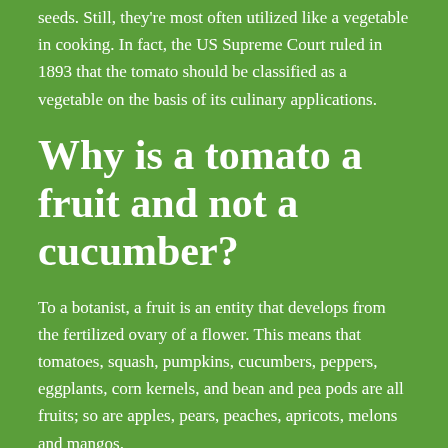seeds. Still, they're most often utilized like a vegetable in cooking. In fact, the US Supreme Court ruled in 1893 that the tomato should be classified as a vegetable on the basis of its culinary applications.
Why is a tomato a fruit and not a cucumber?
To a botanist, a fruit is an entity that develops from the fertilized ovary of a flower. This means that tomatoes, squash, pumpkins, cucumbers, peppers, eggplants, corn kernels, and bean and pea pods are all fruits; so are apples, pears, peaches, apricots, melons and mangos.
[Figure (illustration): Black background illustration showing a tomato plant with the word WHY in white uppercase letters at the bottom left, and an orange bar at the top.]